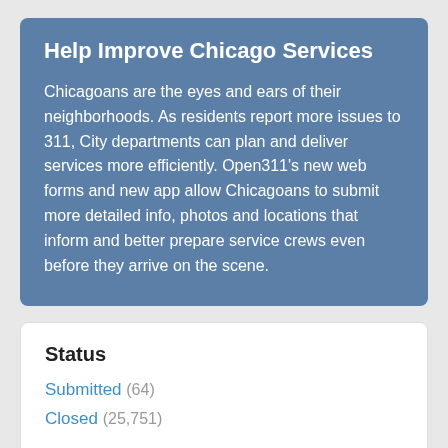Help Improve Chicago Services
Chicagoans are the eyes and ears of their neighborhoods. As residents report more issues to 311, City departments can plan and deliver services more efficiently. Open311's new web forms and new app allow Chicagoans to submit more detailed info, photos and locations that inform and better prepare service crews even before they arrive on the scene.
Status
Submitted (64)
Closed (25,751)
Services
Ice and Snow Removal Request (remove)